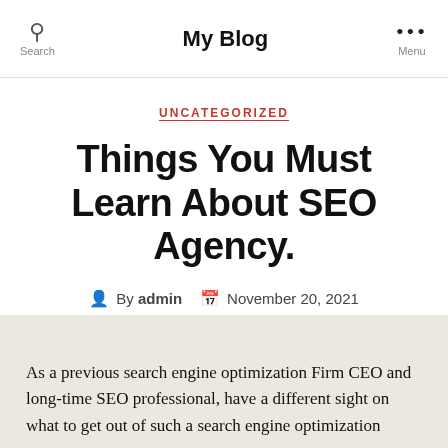My Blog
UNCATEGORIZED
Things You Must Learn About SEO Agency.
By admin   November 20, 2021   No Comments
As a previous search engine optimization Firm CEO and long-time SEO professional, have a different sight on what to get out of such a search engine optimization